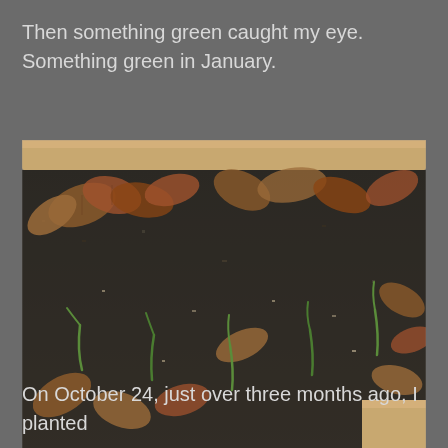Then something green caught my eye. Something green in January.
[Figure (photo): A raised garden bed with dark soil, scattered dry brown autumn leaves, and several small green shoots (garlic or onion seedlings) emerging from the soil. A wooden frame border is visible at the top and bottom right of the image.]
On October 24, just over three months ago, I planted